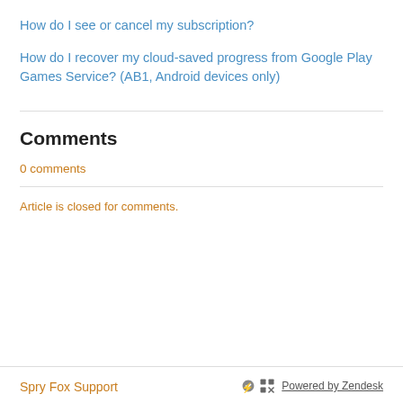How do I see or cancel my subscription?
How do I recover my cloud-saved progress from Google Play Games Service? (AB1, Android devices only)
Comments
0 comments
Article is closed for comments.
Spry Fox Support
Powered by Zendesk